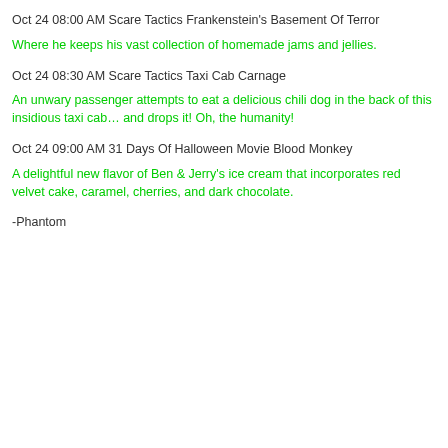Oct 24 08:00 AM Scare Tactics Frankenstein's Basement Of Terror
Where he keeps his vast collection of homemade jams and jellies.
Oct 24 08:30 AM Scare Tactics Taxi Cab Carnage
An unwary passenger attempts to eat a delicious chili dog in the back of this insidious taxi cab… and drops it! Oh, the humanity!
Oct 24 09:00 AM 31 Days Of Halloween Movie Blood Monkey
A delightful new flavor of Ben & Jerry's ice cream that incorporates red velvet cake, caramel, cherries, and dark chocolate.
-Phantom